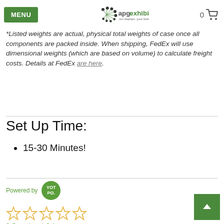MENU | apgexhibits our displays. your brand. | 0 [cart]
Dimensions: Shipping Weight approx. 170 lbs
*Listed weights are actual, physical total weights of case once all components are packed inside. When shipping, FedEx will use dimensional weights (which are based on volume) to calculate freight costs. Details at FedEx are here.
Set Up Time:
15-30 Minutes!
Powered by YOTPO
[Figure (other): Five empty star rating icons (0 out of 5 stars)]
0 Questions \ 0 Answers